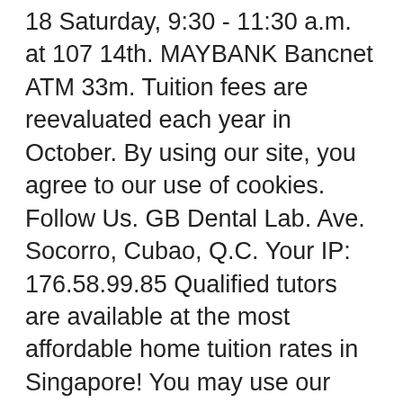18 Saturday, 9:30 - 11:30 a.m. at 107 14th. MAYBANK Bancnet ATM 33m. Tuition fees are reevaluated each year in October. By using our site, you agree to our use of cookies. Follow Us. GB Dental Lab. Ave. Socorro, Cubao, Q.C. Your IP: 176.58.99.85 Qualified tutors are available at the most affordable home tuition rates in Singapore! You may use our home tuition rates table to estimate your monthly tuition fees. Email: Info@pailandshovel.com.ph. Families making a one-time full payment before Aug. 1 will receive a 2% discount. If you are at an office or shared network, you can ask the network administrator to run a scan across the network looking for misconfigured or infected devices.